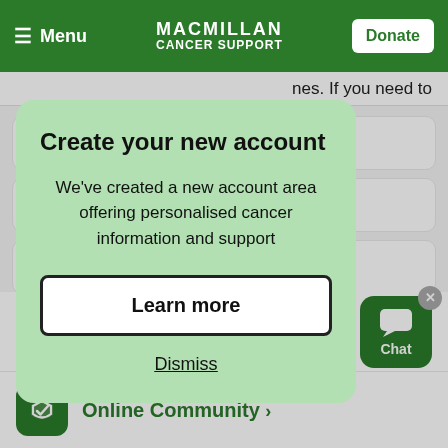Menu | MACMILLAN CANCER SUPPORT | Donate
nes. If you need to
Create your new account
We've created a new account area offering personalised cancer information and support
Learn more
Dismiss
Chat online > Every day 8am - 8pm
Online Community >